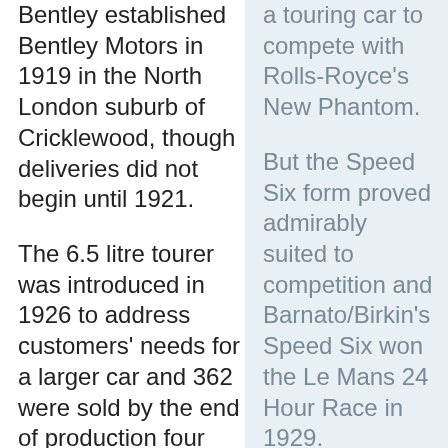Bentley established Bentley Motors in 1919 in the North London suburb of Cricklewood, though deliveries did not begin until 1921.
The 6.5 litre tourer was introduced in 1926 to address customers' needs for a larger car and 362 were sold by the end of production four years later.
O'Rourke
a touring car to compete with Rolls-Royce's New Phantom.
But the Speed Six form proved admirably suited to competition and Barnato/Birkin's Speed Six won the Le Mans 24 Hour Race in 1929.
Although